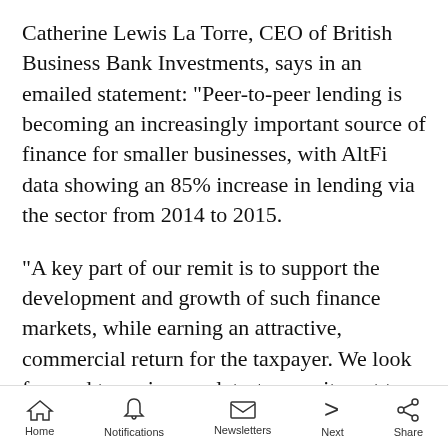Catherine Lewis La Torre, CEO of British Business Bank Investments, says in an emailed statement: "Peer-to-peer lending is becoming an increasingly important source of finance for smaller businesses, with AltFi data showing an 85% increase in lending via the sector from 2014 to 2015.
"A key part of our remit is to support the development and growth of such finance markets, while earning an attractive, commercial return for the taxpayer. We look forward to seeing our latest commitment to Funding Circle enabling the growth and success of many more
Home  Notifications  Newsletters  Next  Share